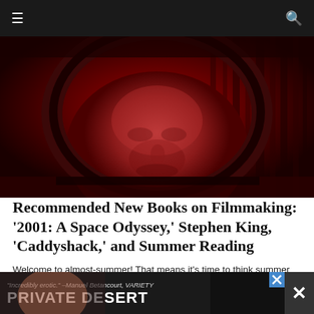☰  🔍
[Figure (photo): Close-up of a person's face in red-tinted light, wearing a rounded helmet or hood, evoking a science-fiction space setting reminiscent of 2001: A Space Odyssey]
Recommended New Books on Filmmaking: '2001: A Space Odyssey,' Stephen King, 'Caddyshack,' and Summer Reading
Welcome to almost-summer! That means it's time to think summer reading. Fans of cinema will find plenty of recent gems to read here, along with some bonus novels, a visual feast for Beatles junkies, and a Blu-ray release of one of David Lynch's most fascinatingly divisive films.
[Figure (screenshot): Advertisement banner: '"Incredibly erotic." –Manuel Betancourt, VARIETY' with large text 'PRIVATE DESERT' and a close-up of a person's face, with close (X) buttons]